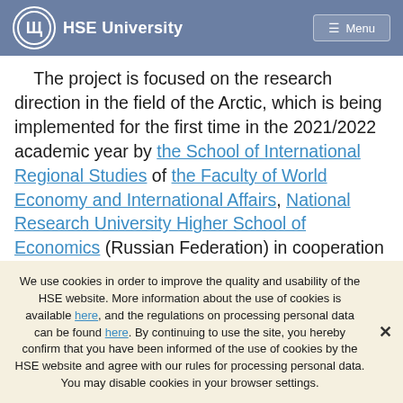HSE University  Menu
The project is focused on the research direction in the field of the Arctic, which is being implemented for the first time in the 2021/2022 academic year by the School of International Regional Studies of the Faculty of World Economy and International Affairs, National Research University Higher School of Economics (Russian Federation) in cooperation with the University of Oslo (Norway), the University of Akureyri (Iceland), Novosibirsk State University (Russia) and the Arctic
We use cookies in order to improve the quality and usability of the HSE website. More information about the use of cookies is available here, and the regulations on processing personal data can be found here. By continuing to use the site, you hereby confirm that you have been informed of the use of cookies by the HSE website and agree with our rules for processing personal data. You may disable cookies in your browser settings.